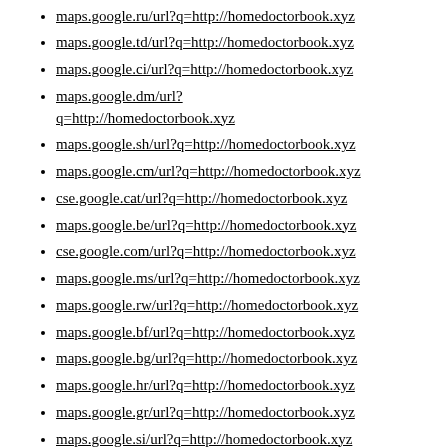maps.google.ru/url?q=http://homedoctorbook.xyz
maps.google.td/url?q=http://homedoctorbook.xyz
maps.google.ci/url?q=http://homedoctorbook.xyz
maps.google.dm/url?q=http://homedoctorbook.xyz
maps.google.sh/url?q=http://homedoctorbook.xyz
maps.google.cm/url?q=http://homedoctorbook.xyz
cse.google.cat/url?q=http://homedoctorbook.xyz
maps.google.be/url?q=http://homedoctorbook.xyz
cse.google.com/url?q=http://homedoctorbook.xyz
maps.google.ms/url?q=http://homedoctorbook.xyz
maps.google.rw/url?q=http://homedoctorbook.xyz
maps.google.bf/url?q=http://homedoctorbook.xyz
maps.google.bg/url?q=http://homedoctorbook.xyz
maps.google.hr/url?q=http://homedoctorbook.xyz
maps.google.gr/url?q=http://homedoctorbook.xyz
maps.google.si/url?q=http://homedoctorbook.xyz
maps.google.dj/url?q=http://homedoctorbook.xyz
maps.google.bs/url?q=http://homedoctorbook.xyz